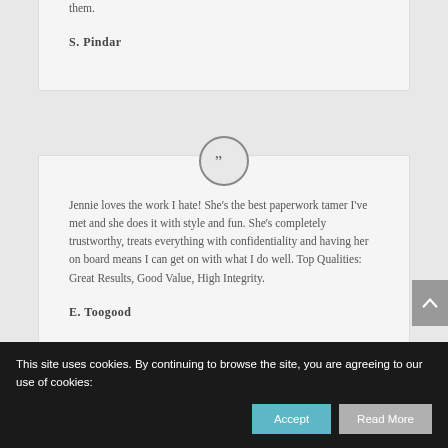them.
S. Pindar
Jennie loves the work I hate! She's the best paperwork tamer I've met and she does it with style and fun. She's completely trustworthy, treats everything with confidentiality and having her on board means I can get on with what I do well. Top Qualities: Great Results, Good Value, High Integrity.
E. Toogood
This site uses cookies. By continuing to browse the site, you are agreeing to our use of cookies: